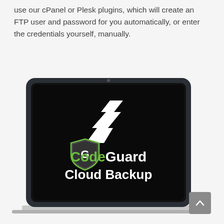use our cPanel or Plesk plugins, which will create an FTP user and password for you automatically, or enter the credentials yourself, manually.
[Figure (illustration): A MacBook-style laptop with a black screen displaying the CodeGuard Cloud Backup logo — a shield icon with a 'G', the text 'CodeGuard' in green and white, and 'Cloud Backup' in bold white text below. Above the logo is a stylized white geometric icon resembling a thunderbolt/shield symbol. A grey scroll-to-top button appears in the bottom-right corner.]